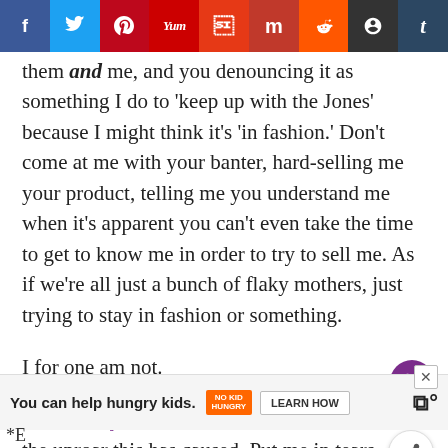[Figure (other): Social sharing toolbar with icons for Facebook, Twitter, Pinterest, Yummly, Flipboard, Mix, Reddit, Buffer, Tumblr]
them and me, and you denouncing it as something I do to 'keep up with the Jones' because I might think it's 'in fashion.' Don't come at me with your banter, hard-selling me your product, telling me you understand me when it's apparent you can't even take the time to get to know me in order to try to sell me. As if we're all just a bunch of flaky mothers, just trying to stay in fashion or something.
I for one am not.
Watch Katja's beautiful video she created about the uproar this has caused. Put me in tears.
[Figure (other): Advertisement bar: You can help hungry kids. No Kid Hungry logo. Learn How button. Site logo.]
*E